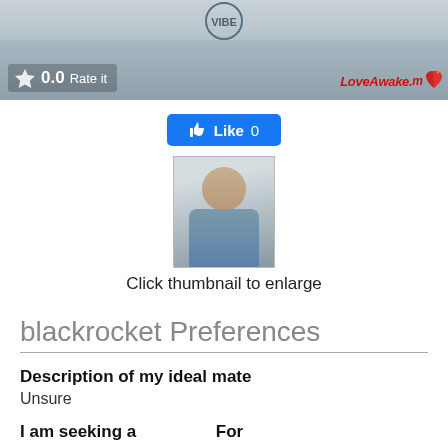[Figure (photo): Top portion of a profile photo showing a person in a blue shirt with a star rating overlay showing 0.0 and 'Rate it', and LoveAwake.com logo in the bottom right corner]
[Figure (screenshot): Facebook Like button showing 'Like 0']
[Figure (photo): Small thumbnail photo of a person looking at the camera]
Click thumbnail to enlarge
blackrocket Preferences
Description of my ideal mate
Unsure
I am seeking a
For